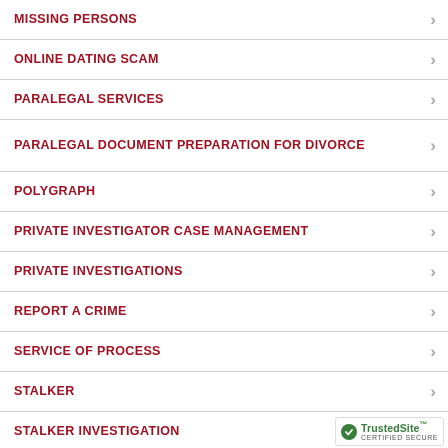MISSING PERSONS
ONLINE DATING SCAM
PARALEGAL SERVICES
PARALEGAL DOCUMENT PREPARATION FOR DIVORCE
POLYGRAPH
PRIVATE INVESTIGATOR CASE MANAGEMENT
PRIVATE INVESTIGATIONS
REPORT A CRIME
SERVICE OF PROCESS
STALKER
STALKER INVESTIGATION